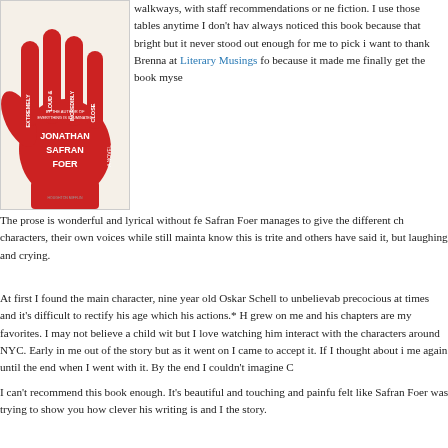[Figure (illustration): Book cover of 'Extremely Loud and Incredibly Close' by Jonathan Safran Foer. Red hand silhouette on cream background with title text on fingers.]
walkways, with staff recommendations or ne fiction. I use those tables anytime I don't hav always noticed this book because that bright but it never stood out enough for me to pick i want to thank Brenna at Literary Musings fo because it made me finally get the book myse
The prose is wonderful and lyrical without fe Safran Foer manages to give the different ch characters, their own voices while still mainta know this is trite and others have said it, but laughing and crying.
At first I found the main character, nine year old Oskar Schell to unbelievab precocious at times and it's difficult to rectify his age which his actions.* H grew on me and his chapters are my favorites. I may not believe a child wit but I love watching him interact with the characters around NYC. Early in me out of the story but as it went on I came to accept it. If I thought about i me again until the end when I went with it. By the end I couldn't imagine C
I can't recommend this book enough. It's beautiful and touching and painfu felt like Safran Foer was trying to show you how clever his writing is and I the story.